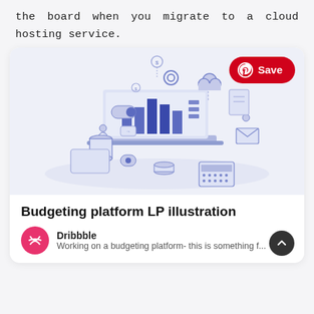the board when you migrate to a cloud hosting service.
[Figure (illustration): Isometric illustration of a budgeting platform showing a laptop with bar charts, cloud, gears, coins, calculator and various financial icons in blue tones on a light blue-grey background. A red Pinterest Save button overlays the top right corner.]
Budgeting platform LP illustration
Dribbble — Working on a budgeting platform- this is something f...